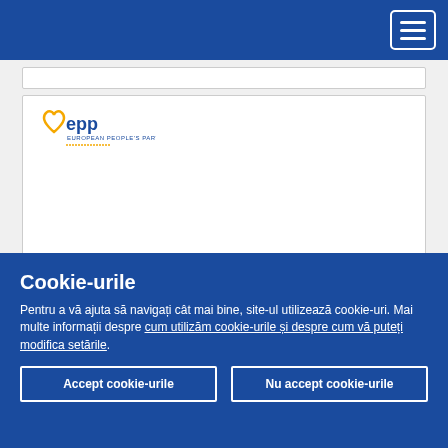[Figure (screenshot): Blue navigation bar with hamburger menu icon (three horizontal lines) in the top right corner]
[Figure (logo): EPP (European People's Party) logo with yellow heart outline and blue/yellow 'epp' text on a white card]
Cookie-urile
Pentru a vă ajuta să navigați cât mai bine, site-ul utilizează cookie-uri. Mai multe informații despre cum utilizăm cookie-urile și despre cum vă puteți modifica setările.
Accept cookie-urile
Nu accept cookie-urile